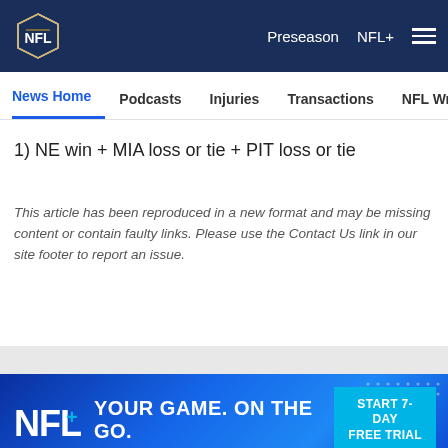[Figure (logo): NFL shield logo in white/blue on dark navy top navigation bar with Preseason, NFL+ text and hamburger menu]
News Home  Podcasts  Injuries  Transactions  NFL Writers  Se
1) NE win + MIA loss or tie + PIT loss or tie
This article has been reproduced in a new format and may be missing content or contain faulty links. Please use the Contact Us link in our site footer to report an issue.
[Figure (screenshot): NFL+ advertisement banner: 'YOUR GAME. ON THE GO.' with START 7-DAY FREE TRIAL button in cyan]
[Figure (infographic): Social sharing icons: Facebook, Twitter, email, and link/chain icons in gray circles]